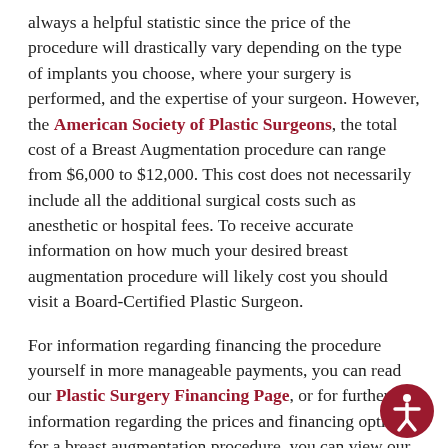always a helpful statistic since the price of the procedure will drastically vary depending on the type of implants you choose, where your surgery is performed, and the expertise of your surgeon. However, the American Society of Plastic Surgeons, the total cost of a Breast Augmentation procedure can range from $6,000 to $12,000. This cost does not necessarily include all the additional surgical costs such as anesthetic or hospital fees. To receive accurate information on how much your desired breast augmentation procedure will likely cost you should visit a Board-Certified Plastic Surgeon.
For information regarding financing the procedure yourself in more manageable payments, you can read our Plastic Surgery Financing Page, or for further information regarding the prices and financing options for a breast augmentation procedure, you can view our blog Breast Augmentation: How Can I Afford It?